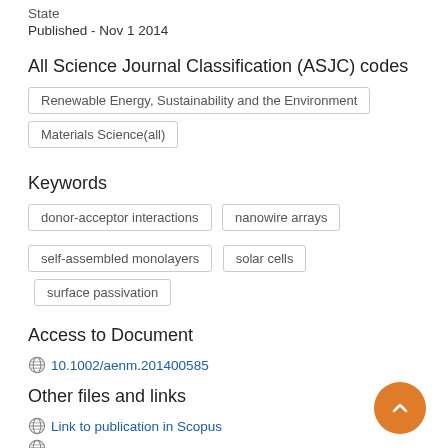State
Published - Nov 1 2014
All Science Journal Classification (ASJC) codes
Renewable Energy, Sustainability and the Environment
Materials Science(all)
Keywords
donor-acceptor interactions
nanowire arrays
self-assembled monolayers
solar cells
surface passivation
Access to Document
10.1002/aenm.201400585
Other files and links
Link to publication in Scopus